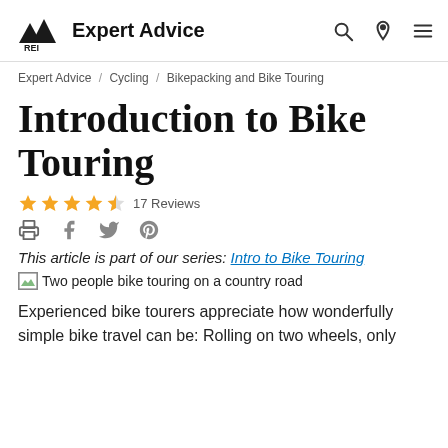REI Co-op Expert Advice
Expert Advice / Cycling / Bikepacking and Bike Touring
Introduction to Bike Touring
17 Reviews
This article is part of our series: Intro to Bike Touring
[Figure (photo): Two people bike touring on a country road]
Experienced bike tourers appreciate how wonderfully simple bike travel can be: Rolling on two wheels, only